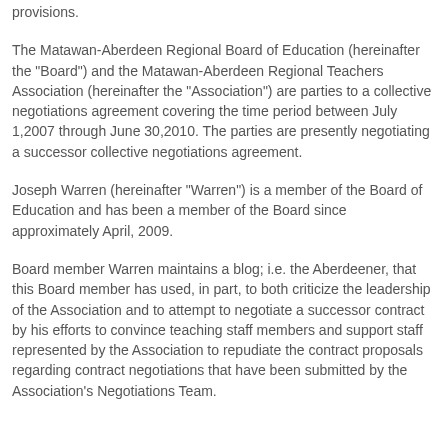provisions.
The Matawan-Aberdeen Regional Board of Education (hereinafter the "Board") and the Matawan-Aberdeen Regional Teachers Association (hereinafter the "Association") are parties to a collective negotiations agreement covering the time period between July 1,2007 through June 30,2010. The parties are presently negotiating a successor collective negotiations agreement.
Joseph Warren (hereinafter "Warren") is a member of the Board of Education and has been a member of the Board since approximately April, 2009.
Board member Warren maintains a blog; i.e. the Aberdeener, that this Board member has used, in part, to both criticize the leadership of the Association and to attempt to negotiate a successor contract by his efforts to convince teaching staff members and support staff represented by the Association to repudiate the contract proposals regarding contract negotiations that have been submitted by the Association's Negotiations Team.